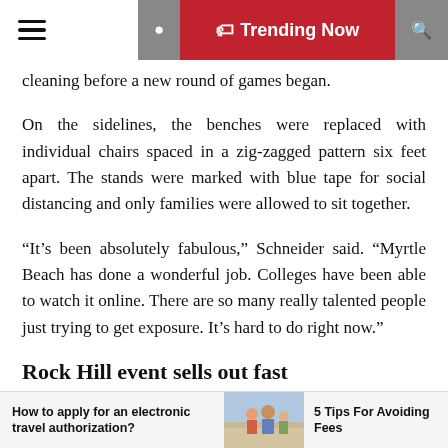≡   🔖 Trending Now 🔍
cleaning before a new round of games began.
On the sidelines, the benches were replaced with individual chairs spaced in a zig-zagged pattern six feet apart. The stands were marked with blue tape for social distancing and only families were allowed to sit together.
“It’s been absolutely fabulous,” Schneider said. “Myrtle Beach has done a wonderful job. Colleges have been able to watch it online. There are so many really talented people just trying to get exposure. It’s hard to do right now.”
Rock Hill event sells out fast
Teammates Basketball founder Blake Thompson knew he was onto something when his Teammates National Tournament event sold out in two weeks. He’s brought
How to apply for an electronic travel authorization?   5 Tips For Avoiding Fees